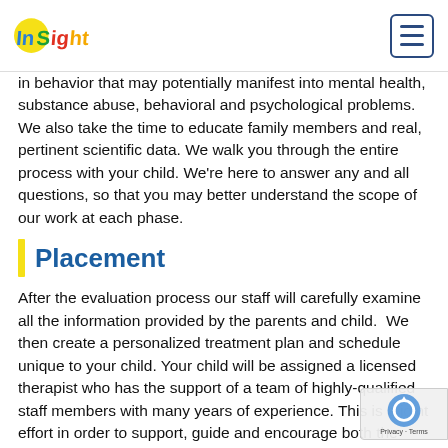InSight [logo] [hamburger menu]
in behavior that may potentially manifest into mental health, substance abuse, behavioral and psychological problems. We also take the time to educate family members and real, pertinent scientific data. We walk you through the entire process with your child. We're here to answer any and all questions, so that you may better understand the scope of our work at each phase.
Placement
After the evaluation process our staff will carefully examine all the information provided by the parents and child.  We then create a personalized treatment plan and schedule unique to your child. Your child will be assigned a licensed therapist who has the support of a team of highly-qualified staff members with many years of experience. This is a joint effort in order to support, guide and encourage both the young person undergoing treatment and their family.